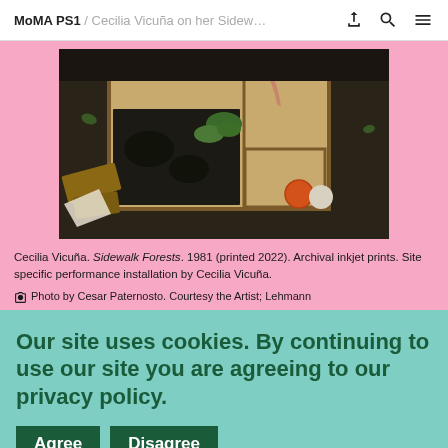MoMA PS1 / Cecilia Vicuña on her Sidewalk Forests
[Figure (photo): Wooden crates containing soil, plants, and yarn balls on the ground — Cecilia Vicuña's Sidewalk Forests installation]
Cecilia Vicuña. Sidewalk Forests. 1981 (printed 2022). Archival inkjet prints. Site specific performance installation by Cecilia Vicuña.
Photo by Cesar Paternosto. Courtesy the Artist; Lehmann
Our site uses cookies. By continuing to use our site you are agreeing to our privacy policy.
Agree  Disagree